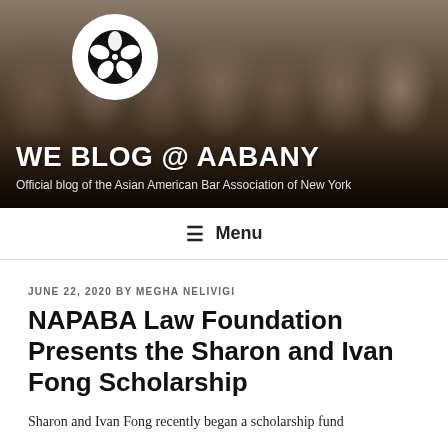[Figure (photo): Group photo of Asian American professionals in formal attire at an event, with the AABANY flower logo overlaid on the top left. Background shows event banners. The blog header banner for 'WE BLOG @ AABANY'.]
WE BLOG @ AABANY
Official blog of the Asian American Bar Association of New York
≡ Menu
JUNE 22, 2020 BY MEGHA NELIVIGI
NAPABA Law Foundation Presents the Sharon and Ivan Fong Scholarship
Sharon and Ivan Fong recently began a scholarship fund